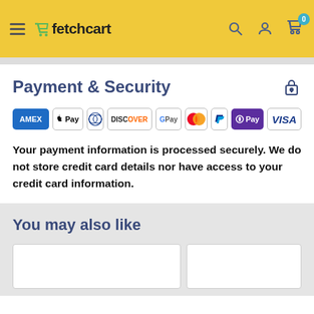fetchcart
Payment & Security
[Figure (other): Payment method logos: AMEX, Apple Pay, Diners Club, Discover, Google Pay, Mastercard, PayPal, OPay, VISA]
Your payment information is processed securely. We do not store credit card details nor have access to your credit card information.
You may also like